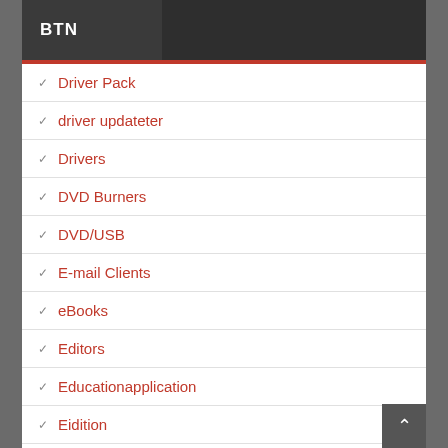BTN
Driver Pack
driver updateter
Drivers
DVD Burners
DVD/USB
E-mail Clients
eBooks
Editors
Educationapplication
Eidition
Engineering CAD Software
File Compression
File Management